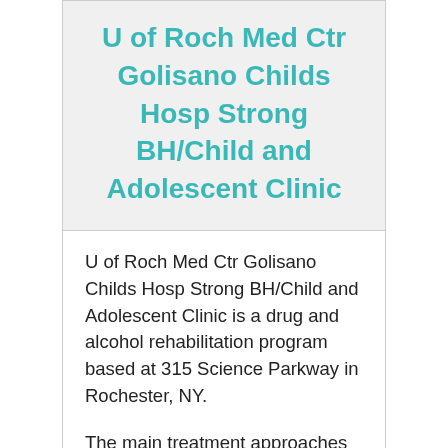U of Roch Med Ctr Golisano Childs Hosp Strong BH/Child and Adolescent Clinic
U of Roch Med Ctr Golisano Childs Hosp Strong BH/Child and Adolescent Clinic is a drug and alcohol rehabilitation program based at 315 Science Parkway in Rochester, NY.
The main treatment approaches at this program include Individual Addiction Treatment Therapy, Marital Therapy, Group Drug Counseling. The facility also offers their services in various settings, for instance Outpatient Drug Addiction Treatment.